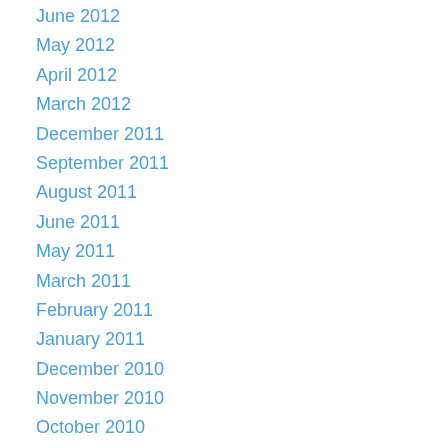June 2012
May 2012
April 2012
March 2012
December 2011
September 2011
August 2011
June 2011
May 2011
March 2011
February 2011
January 2011
December 2010
November 2010
October 2010
September 2010
August 2010
June 2010
May 2010
April 2010